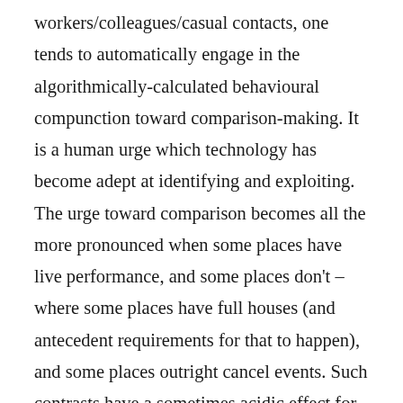workers/colleagues/casual contacts, one tends to automatically engage in the algorithmically-calculated behavioural compunction toward comparison-making. It is a human urge which technology has become adept at identifying and exploiting. The urge toward comparison becomes all the more pronounced when some places have live performance, and some places don't – where some places have full houses (and antecedent requirements for that to happen), and some places outright cancel events. Such contrasts have a sometimes acidic effect for those of us in the arts, who have lost work or are still looking, who are looking to bump up CVs and pay bills. Not being a part of regular crowds these last almost-two-years (and thus not working, for the most part) encourages an insularity whereby